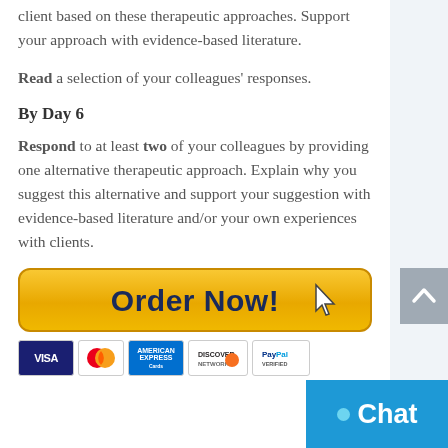client based on these therapeutic approaches. Support your approach with evidence-based literature.
Read a selection of your colleagues' responses.
By Day 6
Respond to at least two of your colleagues by providing one alternative therapeutic approach. Explain why you suggest this alternative and support your suggestion with evidence-based literature and/or your own experiences with clients.
[Figure (other): Order Now! button with cursor arrow icon]
[Figure (other): Payment method logos: Visa, MasterCard, American Express, Discover, PayPal]